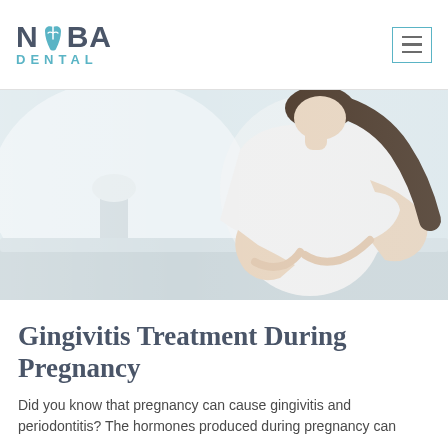[Figure (logo): NABA Dental logo with stylized tooth in the letter A, teal and dark gray colors]
[Figure (photo): Pregnant woman in white top reclining and holding her belly, bright airy indoor setting]
Gingivitis Treatment During Pregnancy
Did you know that pregnancy can cause gingivitis and periodontitis? The hormones produced during pregnancy can